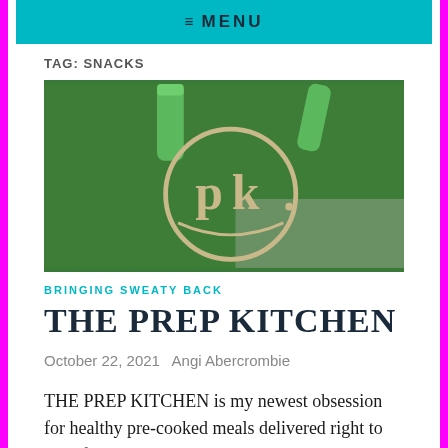≡ MENU
TAG: SNACKS
[Figure (photo): A green tote bag with the 'pk' (Prep Kitchen) logo — a circle with the letters pk in tan/beige on a green background, photographed on a light stone surface.]
BRINGING SWEATY BACK
THE PREP KITCHEN
October 22, 2021   Angi Abercrombie
THE PREP KITCHEN is my newest obsession for healthy pre-cooked meals delivered right to your front door! Did you hear me? "Healthy" gourmet